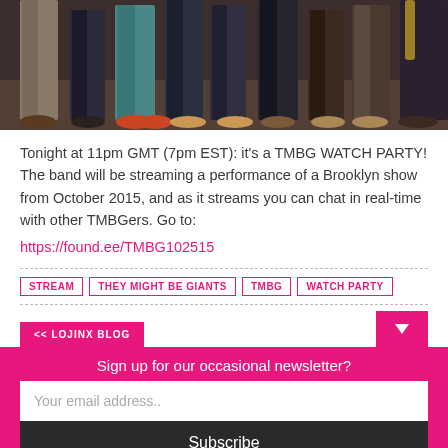[Figure (photo): Group photo of band members from the waist down, showing legs and feet on a stage, some holding instruments]
Tonight at 11pm GMT (7pm EST): it's a TMBG WATCH PARTY! The band will be streaming a performance of a Brooklyn show from October 2015, and as it streams you can chat in real-time with other TMBGers. Go to:
https://found.ee/TMBG102515
STREAM
THEY MIGHT BE GIANTS
TMBG
WATCH PARTY
<< LOJINX BLOG
Sign up for our occasional newsletter?
Your email address..
Subscribe